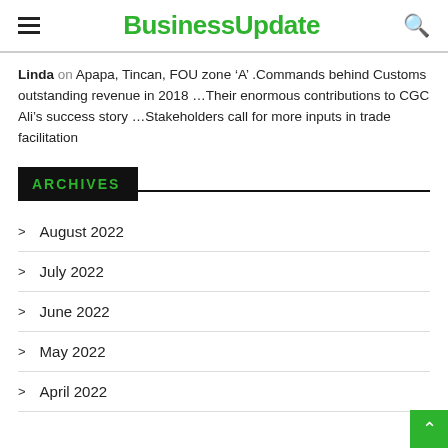BusinessUpdate
Linda on Apapa, Tincan, FOU zone ‘A’ .Commands behind Customs outstanding revenue in 2018 …Their enormous contributions to CGC Ali’s success story …Stakeholders call for more inputs in trade facilitation
ARCHIVES
August 2022
July 2022
June 2022
May 2022
April 2022